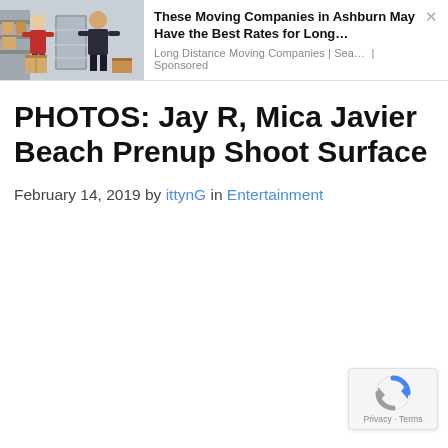[Figure (screenshot): Advertisement banner with image of movers carrying boxes on left, and ad text on right. Title: 'These Moving Companies in Ashburn May Have the Best Rates for Long…'. Meta: 'Long Distance Moving Companies | Sea… | Sponsored'. Close button (×) top right.]
PHOTOS: Jay R, Mica Javier Beach Prenup Shoot Surface
February 14, 2019 by ittynG in Entertainment
[Figure (logo): reCAPTCHA badge with Google reCAPTCHA icon and 'Privacy · Terms' text]